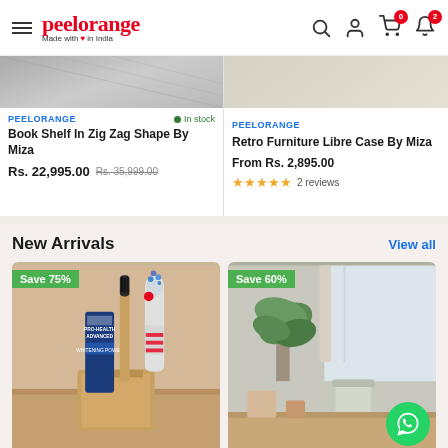[Figure (screenshot): Peelorange e-commerce website header with logo and navigation icons]
[Figure (screenshot): Product card: Book Shelf In Zig Zag Shape By Miza, Rs. 22,995.00, was Rs. 35,999.00, In stock]
[Figure (screenshot): Product card (partial): Retro Furniture Libre Case By Miza, From Rs. 2,895.00, 2 reviews]
New Arrivals
View all
[Figure (photo): Toothbrushes and toothpaste in a wooden holder, Save 75% badge]
[Figure (photo): Interior with plant and furniture items, Save 60% badge]